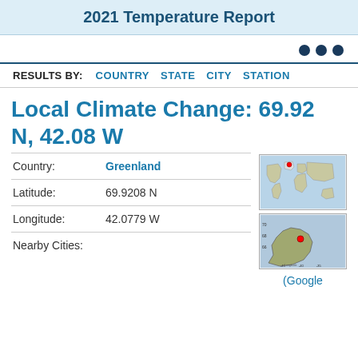2021 Temperature Report
RESULTS BY: COUNTRY STATE CITY STATION
Local Climate Change: 69.92 N, 42.08 W
| Country: | Greenland |
| Latitude: | 69.9208 N |
| Longitude: | 42.0779 W |
| Nearby Cities: |  |
[Figure (map): World map with red marker on Greenland]
[Figure (map): Regional map of Greenland with red dot marker and latitude/longitude axes]
(Google